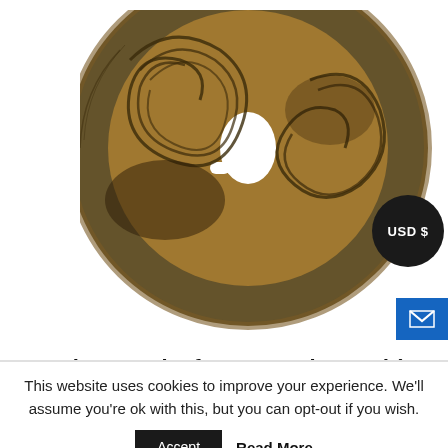[Figure (photo): Close-up photo of an antique Japanese tsuba (sword handguard) with circular bronze/brass form featuring decorative wave/scroll patterns and cutout design. A black circular badge with 'USD $' text is overlaid in the bottom right corner of the image area.]
TSUBA: HANDGUARD
Antique Tsuba for Samurai Sword (T-188)
$331.21
READ MORE
This website uses cookies to improve your experience. We'll assume you're ok with this, but you can opt-out if you wish.
Accept
Read More